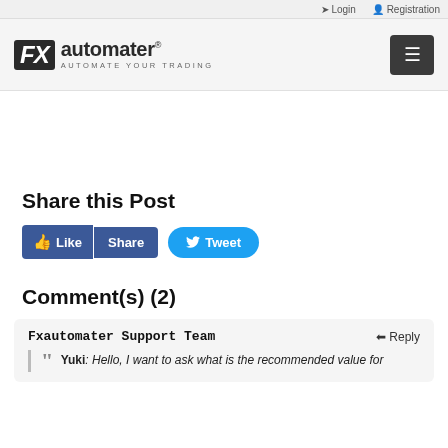Login  Registration
[Figure (logo): FX automater logo with tagline AUTOMATE YOUR TRADING]
Share this Post
[Figure (infographic): Social media buttons: Like, Share (Facebook), Tweet (Twitter)]
Comment(s) (2)
Fxautomater Support Team  Reply  Yuki: Hello, I want to ask what is the recommended value for